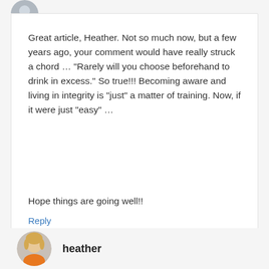[Figure (photo): Partially visible circular avatar image at top left of comment box]
Great article, Heather. Not so much now, but a few years ago, your comment would have really struck a chord ... "Rarely will you choose beforehand to drink in excess." So true!!! Becoming aware and living in integrity is "just" a matter of training. Now, if it were just "easy" ...

Hope things are going well!!
Reply
[Figure (photo): Circular avatar photo of a woman with blonde hair wearing an orange top]
heather